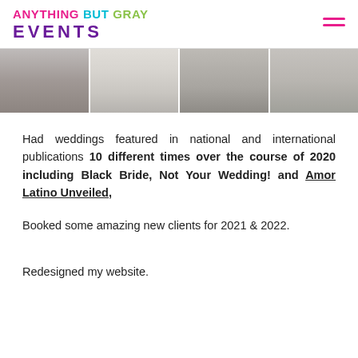ANYTHING BUT GRAY EVENTS
[Figure (photo): Strip of four wedding photos showing couples and a bouquet]
Had weddings featured in national and international publications 10 different times over the course of 2020 including Black Bride, Not Your Wedding! and Amor Latino Unveiled,
Booked some amazing new clients for 2021 & 2022.
Redesigned my website.